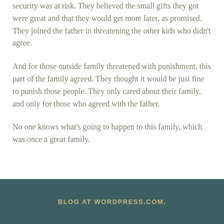security was at risk. They believed the small gifts they got were great and that they would get more later, as promised. They joined the father in threatening the other kids who didn't agree.
And for those outside family threatened with punishment, this part of the family agreed. They thought it would be just fine to punish those people. They only cared about their family, and only for those who agreed with the father.
No one knows what's going to happen to this family, which was once a great family.
BLOG AT WORDPRESS.COM.